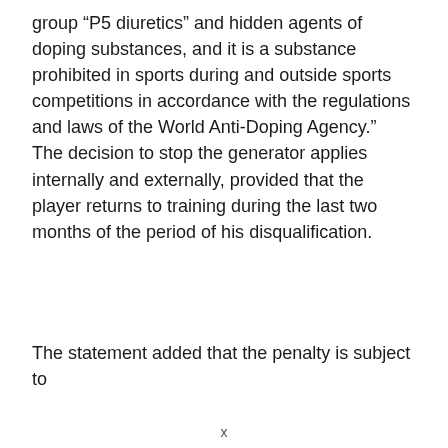group “P5 diuretics” and hidden agents of doping substances, and it is a substance prohibited in sports during and outside sports competitions in accordance with the regulations and laws of the World Anti-Doping Agency.”
The decision to stop the generator applies internally and externally, provided that the player returns to training during the last two months of the period of his disqualification.
The statement added that the penalty is subject to
x